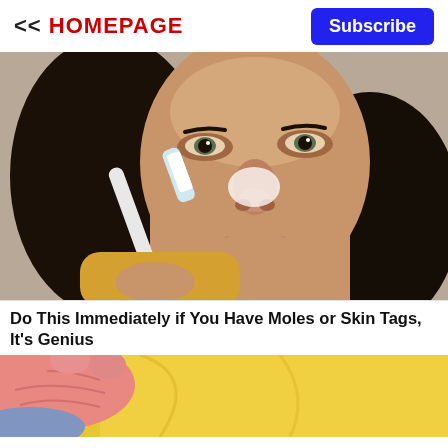<< HOMEPAGE   Subscribe
[Figure (photo): Close-up photo of a young woman with dark hair holding a toothbrush up to her nose, applying something white to it. Blurred background.]
Do This Immediately if You Have Moles or Skin Tags, It's Genius
[Figure (photo): Close-up photo showing gloved hands (pink latex gloves) against a yellow fabric background, bottom portion of the page.]